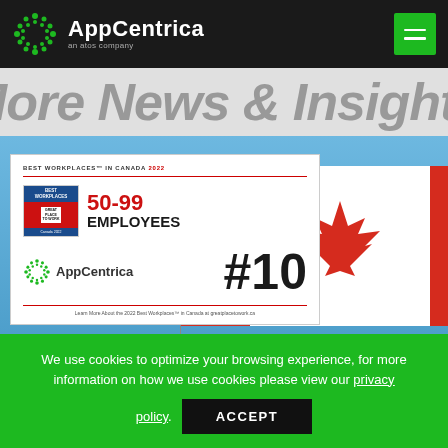AppCentrica an atos company
More News & Insights
[Figure (photo): Award certificate showing AppCentrica ranked #10 in Best Workplaces in Canada 2022, 50-99 Employees category, overlaid on a Canadian flag background]
We use cookies to optimize your browsing experience, for more information on how we use cookies please view our privacy policy.
ACCEPT